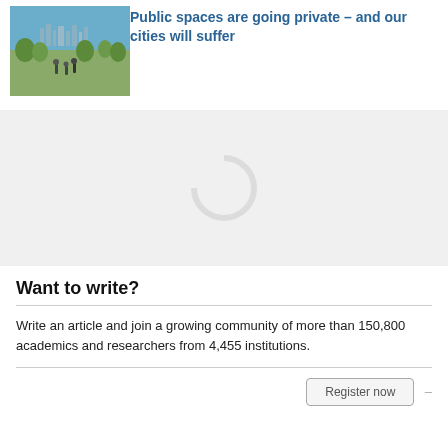[Figure (photo): Outdoor city/park scene with people, plants, and urban skyline in the background under a blue sky.]
Public spaces are going private – and our cities will suffer
[Figure (other): Loading spinner graphic on a light grey background.]
Want to write?
Write an article and join a growing community of more than 150,800 academics and researchers from 4,455 institutions.
Register now